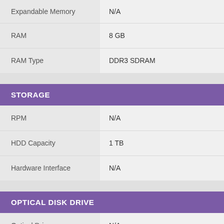| Feature | Value |
| --- | --- |
| Expandable Memory | N/A |
| RAM | 8 GB |
| RAM Type | DDR3 SDRAM |
| STORAGE |  |
| RPM | N/A |
| HDD Capacity | 1 TB |
| Hardware Interface | N/A |
| OPTICAL DISK DRIVE |  |
| Optical Drive | N/A |